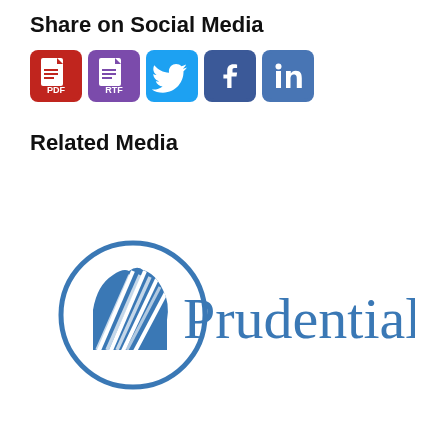Share on Social Media
[Figure (infographic): Row of social sharing icons: PDF (red), RTF (purple), Twitter (blue bird), Facebook (blue f), LinkedIn (blue in)]
Related Media
[Figure (logo): Prudential logo: blue circle with rock/Gibraltar icon on left, and 'Prudential' text in blue serif font on right]